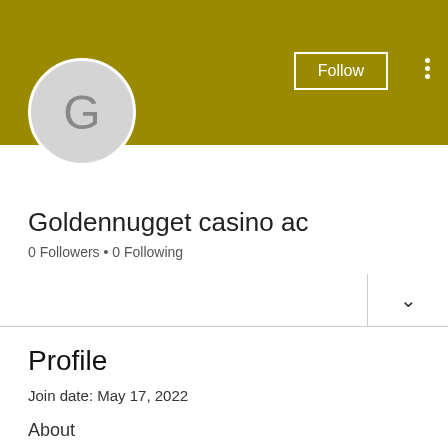[Figure (screenshot): User profile banner with olive/dark yellow background color, a Follow button outlined in white, and a three-dot menu icon on the right]
[Figure (illustration): Circular avatar with light gray background and the letter G in gray]
Goldennugget casino ac
0 Followers • 0 Following
Profile
Join date: May 17, 2022
About
Goldennugget casino ac